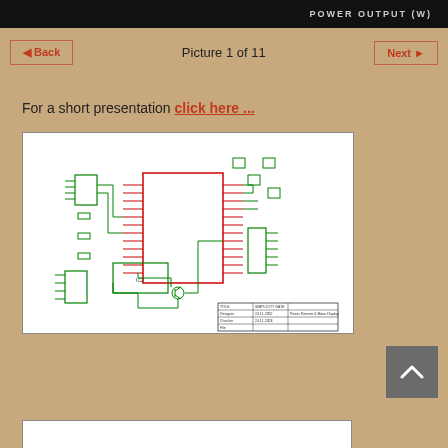[Figure (screenshot): Top cropped image with dark background and text 'POWER OUTPUT (W)' visible at top right]
◄ Back   Picture 1 of 11   Next ►
For a short presentation click here ...
[Figure (circuit-diagram): Electronic schematic/circuit diagram showing a microcontroller with various components connected by green lines on a white background, with a component table at the bottom right]
[Figure (screenshot): Partial bottom image, white background, beginning of another figure]